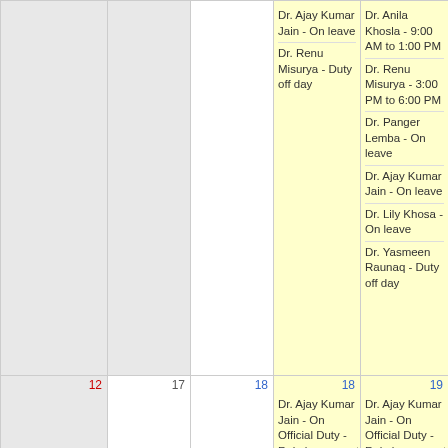| (col1) | (col2) | (col3) | 18 | 19 |
| --- | --- | --- | --- | --- |
|  |  |  | Dr. Ajay Kumar Jain - On leave
Dr. Renu Misurya - Duty off day | Dr. Anila Khosla - 9:00 AM to 1:00 PM
Dr. Renu Misurya - 3:00 PM to 6:00 PM
Dr. Panger Lemba - On leave
Dr. Ajay Kumar Jain - On leave
Dr. Lily Khosa - On leave
Dr. Yasmeen Raunaq - Duty off day |
| 12 | 17 |  | Dr. Ajay Kumar Jain - On Official Duty - Reimbursement Work (AN)
Dr. Ajay Kumar Jain - 9:00 AM to... | Dr. Ajay Kumar Jain - On Official Duty - Reimbursement Work (AN)
Dr. Ajay Kumar Jain - 9:00 AM to... |